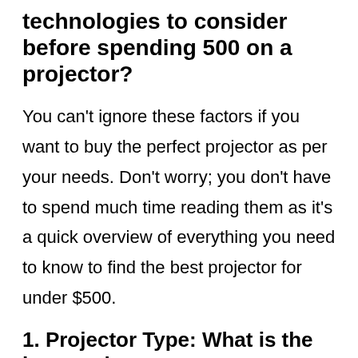technologies to consider before spending 500 on a projector?
You can't ignore these factors if you want to buy the perfect projector as per your needs. Don't worry; you don't have to spend much time reading them as it's a quick overview of everything you need to know to find the best projector for under $500.
1. Projector Type: What is the best projector type you can imagine under 500?
You have two options: a DLP projector and an LCD